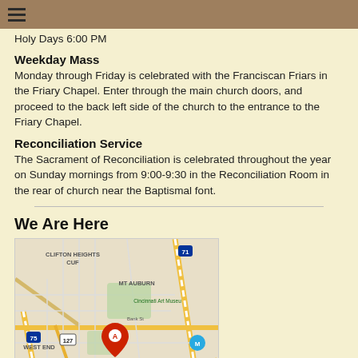≡
Holy Days 6:00 PM
Weekday Mass
Monday through Friday is celebrated with the Franciscan Friars in the Friary Chapel. Enter through the main church doors, and proceed to the back left side of the church to the entrance to the Friary Chapel.
Reconciliation Service
The Sacrament of Reconciliation is celebrated throughout the year on Sunday mornings from 9:00-9:30 in the Reconciliation Room in the rear of church near the Baptismal font.
We Are Here
[Figure (map): Google-style map showing Cincinnati area neighborhoods including Clifton Heights, CUF, MT Auburn, West End, Over-The-Rhine, with a red location marker A near the center and Cincinnati Art Museum label visible. Interstate markers 71, 75, 127, 471 visible. Hard Rock Casino Cincinnati labeled at bottom.]